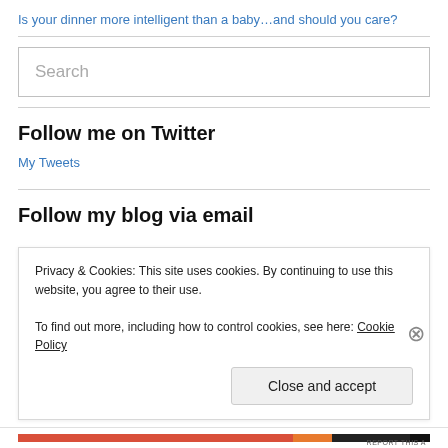Is your dinner more intelligent than a baby…and should you care?
Follow me on Twitter
My Tweets
Follow my blog via email
Privacy & Cookies: This site uses cookies. By continuing to use this website, you agree to their use.
To find out more, including how to control cookies, see here: Cookie Policy
Close and accept